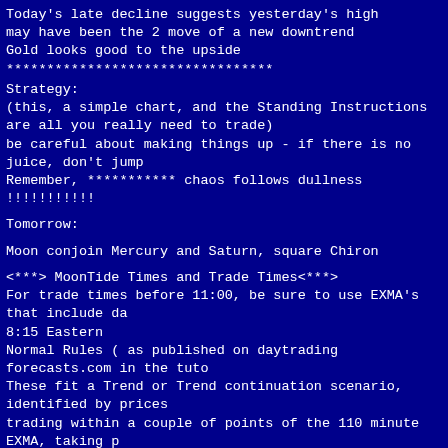Today's late decline suggests yesterday's high may have been the 2 move of a new downtrend Gold looks good to the upside
*********************************
Strategy:
(this, a simple chart, and the Standing Instructions are all you really need to trade)
be careful about making things up - if there is no juice, don't jump
Remember, *********** chaos follows dullness !!!!!!!!!!!
Tomorrow:
Moon conjoin Mercury and Saturn, square Chiron
<***> MoonTide Times and Trade Times<***>
For trade times before 11:00, be sure to use EXMA's that include da 8:15 Eastern
Normal Rules ( as published on daytrading forecasts.com in the tuto These fit a Trend or Trend continuation scenario, identified by prices trading within a couple of points of the 110 minute EXMA, taking p on a 12 point range.
1. Watch for the opportunity to go with the trend or change in trend a the time(s) given.
Be alert for the turn coming early or late.
Be alert for a change.